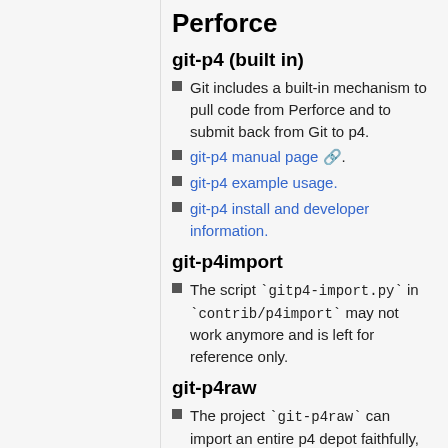Perforce
git-p4 (built in)
Git includes a built-in mechanism to pull code from Perforce and to submit back from Git to p4.
git-p4 manual page.
git-p4 example usage.
git-p4 install and developer information.
git-p4import
The script `gitp4-import.py` in `contrib/p4import` may not work anymore and is left for reference only.
git-p4raw
The project `git-p4raw` can import an entire p4 depot faithfully, preserving branch relationships. It uses the p4d database files directly. See the GitHub repository.
Monotone
mtn2git